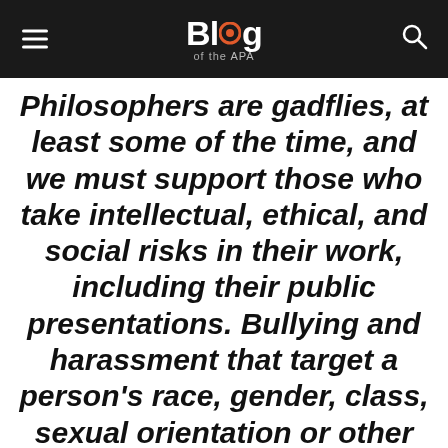Blog of the APA
Philosophers are gadflies, at least some of the time, and we must support those who take intellectual, ethical, and social risks in their work, including their public presentations. Bullying and harassment that target a person’s race, gender, class, sexual orientation or other status are especially abhorrent. We unequivocally